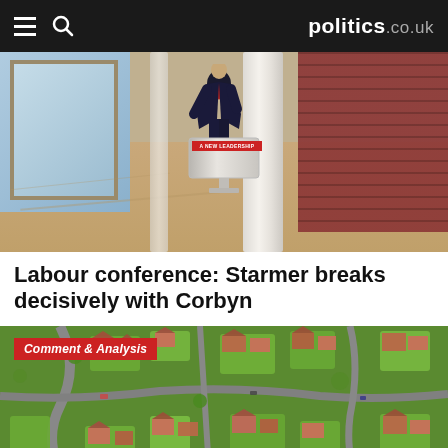politics.co.uk
[Figure (photo): Person in dark suit standing at a podium with a red 'A New Leadership' banner, in a large hall with windows on the left and brick wall on the right]
Labour conference: Starmer breaks decisively with Corbyn
[Figure (photo): Aerial view of a suburban UK neighbourhood with green gardens, houses with red/brown rooftops, and winding roads]